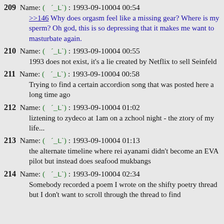209 Name: ( ´_ʟ`) : 1993-09-10004 00:54
>>146 Why does orgasm feel like a missing gear? Where is my sperm? Oh god, this is so depressing that it makes me want to masturbate again.
210 Name: ( ´_ʟ`) : 1993-09-10004 00:55
1993 does not exist, it's a lie created by Netflix to sell Seinfeld
211 Name: ( ´_ʟ`) : 1993-09-10004 00:58
Trying to find a certain accordion song that was posted here a long time ago
212 Name: ( ´_ʟ`) : 1993-09-10004 01:02
liztening to zydeco at 1am on a zchool night - the ztory of my life...
213 Name: ( ´_ʟ`) : 1993-09-10004 01:13
the alternate timeline where rei ayanami didn't become an EVA pilot but instead does seafood mukbangs
214 Name: ( ´_ʟ`) : 1993-09-10004 02:34
Somebody recorded a poem I wrote on the shifty poetry thread but I don't want to scroll through the thread to find